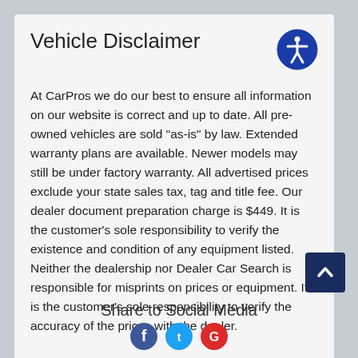Vehicle Disclaimer
At CarPros we do our best to ensure all information on our website is correct and up to date. All pre-owned vehicles are sold "as-is" by law. Extended warranty plans are available. Newer models may still be under factory warranty. All advertised prices exclude your state sales tax, tag and title fee. Our dealer document preparation charge is $449. It is the customer's sole responsibility to verify the existence and condition of any equipment listed. Neither the dealership nor Dealer Car Search is responsible for misprints on prices or equipment. It is the customer's sole responsibility to verify the accuracy of the prices with the dealer.
Share to Social Media